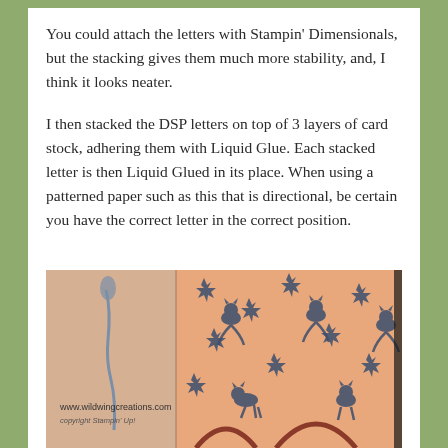You could attach the letters with Stampin' Dimensionals, but the stacking gives them much more stability, and, I think it looks neater.
I then stacked the DSP letters on top of 3 layers of card stock, adhering them with Liquid Glue. Each stacked letter is then Liquid Glued in its place. When using a patterned paper such as this that is directional, be certain you have the correct letter in the correct position.
[Figure (photo): Close-up photo of patterned paper featuring cats and maple leaves in dark blue/navy on an orange/salmon background. A heron or crane motif is visible on the left side. Watermark reads www.wildwingcreations.com and copyright Stampin' Up!]